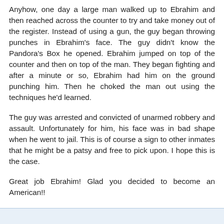Anyhow, one day a large man walked up to Ebrahim and then reached across the counter to try and take money out of the register. Instead of using a gun, the guy began throwing punches in Ebrahim's face. The guy didn't know the Pandora's Box he opened. Ebrahim jumped on top of the counter and then on top of the man. They began fighting and after a minute or so, Ebrahim had him on the ground punching him. Then he choked the man out using the techniques he'd learned.
The guy was arrested and convicted of unarmed robbery and assault. Unfortunately for him, his face was in bad shape when he went to jail. This is of course a sign to other inmates that he might be a patsy and free to pick upon. I hope this is the case.
Great job Ebrahim! Glad you decided to become an American!!